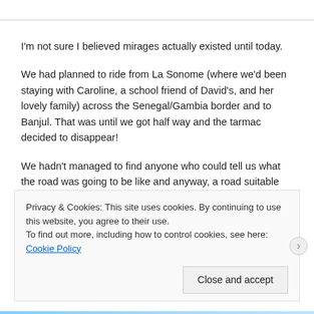I'm not sure I believed mirages actually existed until today.
We had planned to ride from La Sonome (where we'd been staying with Caroline, a school friend of David's, and her lovely family) across the Senegal/Gambia border and to Banjul. That was until we got half way and the tarmac decided to disappear!
We hadn't managed to find anyone who could tell us what the road was going to be like and anyway, a road suitable for motorbikes and cars can be different.
The strange thing about the road from Kaolack heading south west is that you have about 200m of potholed tarmac then 1km of piste etc. not great
Privacy & Cookies: This site uses cookies. By continuing to use this website, you agree to their use.
To find out more, including how to control cookies, see here: Cookie Policy
Close and accept